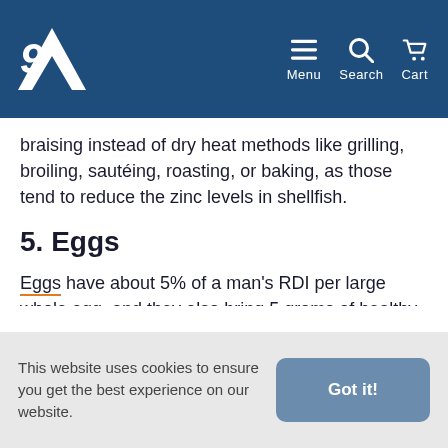Menu  Search  Cart
braising instead of dry heat methods like grilling, broiling, sautéing, roasting, or baking, as those tend to reduce the zinc levels in shellfish.
5. Eggs
Eggs have about 5% of a man's RDI per large whole egg, and they also bring 5 grams of healthy fats, 6 grams of protein, and vitamins and minerals. One of the foods with high zinc and selenium content, eggs also have an assortment of B vitamins and choline, which is important
This website uses cookies to ensure you get the best experience on our website.